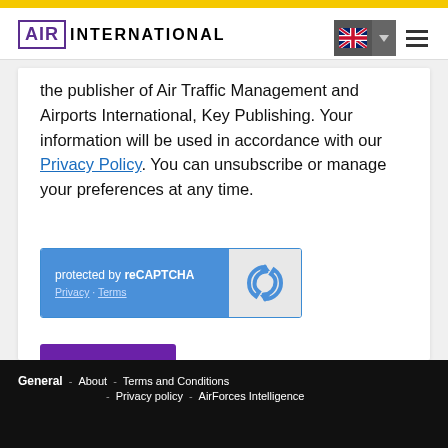AIR INTERNATIONAL
the publisher of Air Traffic Management and Airports International, Key Publishing. Your information will be used in accordance with our Privacy Policy. You can unsubscribe or manage your preferences at any time.
[Figure (other): reCAPTCHA widget with blue background showing 'protected by reCAPTCHA' text and Privacy/Terms links on the left, and the reCAPTCHA logo icon on the right grey panel]
[Figure (other): Purple 'SIGN UP' button]
General - About - Terms and Conditions - Privacy policy - AirForces Intelligence